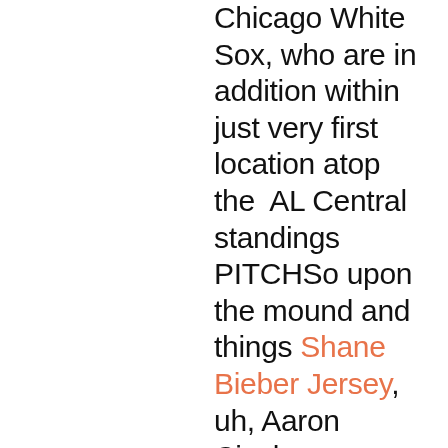Chicago White Sox, who are in addition within just very first location atop the AL Central standings PITCHSo upon the mound and things Shane Bieber Jersey, uh, Aaron Civale appeared particularly Fantastic! I signify! He did right up until anything occurred and then all of the coaches remaining the dugout and they walked towards the mound and they appeared at Aaron hand a poked it a good deal and another person pointed at his finger and Aaron was which includes "Yeah, this hurtsand the practice was together with "OK allow me contact itand Aaron was including o it hurtsand the train was including "OK by yourself are not able to baseballand Aaron stated, "Aw."Bryan Shaw relieved Civale and attained the praise of the formal scorekeeper by the acquire. It wasn Incredibly a 5-and-4, nevertheless that is simply considering the fact that of the one particular excess batter retired